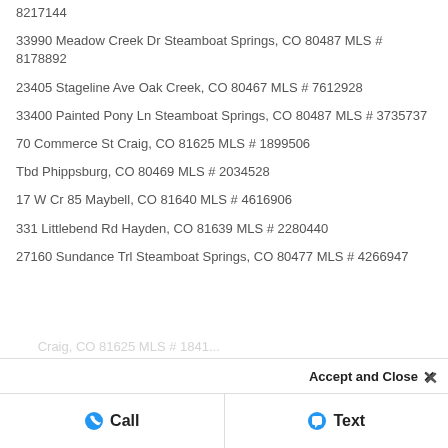8217144
33990 Meadow Creek Dr Steamboat Springs, CO 80487 MLS # 8178892
23405 Stageline Ave Oak Creek, CO 80467 MLS # 7612928
33400 Painted Pony Ln Steamboat Springs, CO 80487 MLS # 3735737
70 Commerce St Craig, CO 81625 MLS # 1899506
Tbd Phippsburg, CO 80469 MLS # 2034528
17 W Cr 85 Maybell, CO 81640 MLS # 4616906
331 Littlebend Rd Hayden, CO 81639 MLS # 2280440
27160 Sundance Trl Steamboat Springs, CO 80477 MLS # 4266947
Accept and Close ×
Call   Text